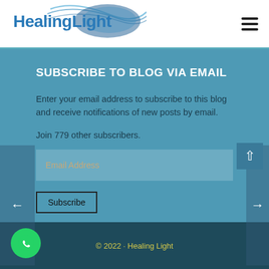HealingLight
SUBSCRIBE TO BLOG VIA EMAIL
Enter your email address to subscribe to this blog and receive notifications of new posts by email.
Join 779 other subscribers.
© 2022 · Healing Light